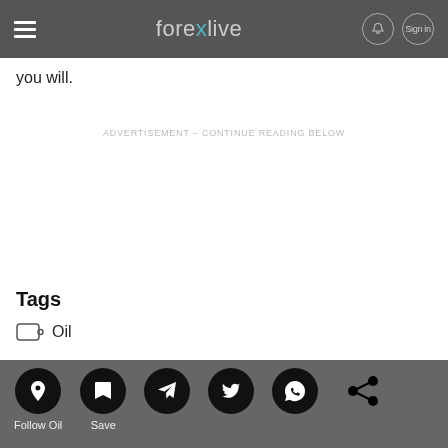forexlive
you will.
ADVERTISEMENT - CONTINUE READING BELOW
Tags
Oil
Follow Oil  Save